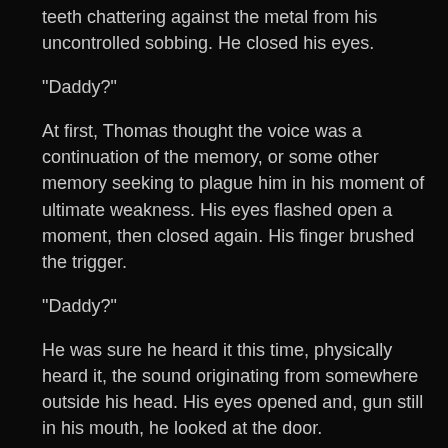teeth chattering against the metal from his uncontrolled sobbing. He closed his eyes.
“Daddy?”
At first, Thomas thought the voice was a continuation of the memory, or some other memory seeking to plague him in his moment of ultimate weakness. His eyes flashed open a moment, then closed again. His finger brushed the trigger.
“Daddy?”
He was sure he heard it this time, physically heard it, the sound originating from somewhere outside his head. His eyes opened and, gun still in his mouth, he looked at the door.